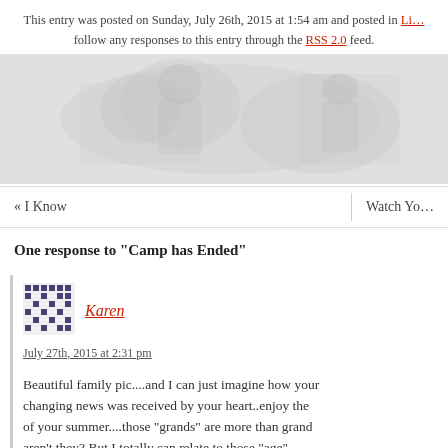This entry was posted on Sunday, July 26th, 2015 at 1:54 am and posted in Li… follow any responses to this entry through the RSS 2.0 feed.
[Figure (photo): Faded/ghost image in background, appears to be an outdoor or nature photo]
« I Know
Watch Yo…
One response to "Camp has Ended"
Karen
July 27th, 2015 at 2:31 pm
Beautiful family pic....and I can just imagine how your changing news was received by your heart..enjoy the of your summer....those "grands" are more than grand aren't they? But I totally can relate to those "age" reminders that make the pauses so much needed....w… b ll b ?